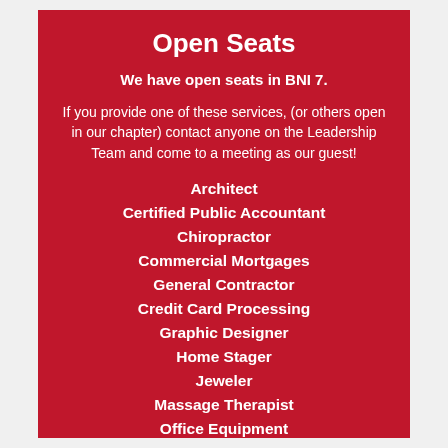Open Seats
We have open seats in BNI 7.
If you provide one of these services, (or others open in our chapter) contact anyone on the Leadership Team and come to a meeting as our guest!
Architect
Certified Public Accountant
Chiropractor
Commercial Mortgages
General Contractor
Credit Card Processing
Graphic Designer
Home Stager
Jeweler
Massage Therapist
Office Equipment
Photographer
Professional Organizer